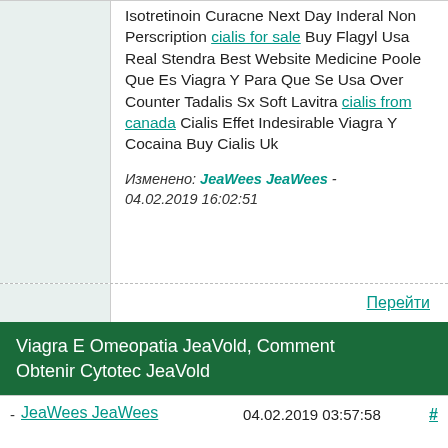Isotretinoin Curacne Next Day Inderal Non Perscription cialis for sale Buy Flagyl Usa Real Stendra Best Website Medicine Poole Que Es Viagra Y Para Que Se Usa Over Counter Tadalis Sx Soft Lavitra cialis from canada Cialis Effet Indesirable Viagra Y Cocaina Buy Cialis Uk
Изменено: JeaWees JeaWees - 04.02.2019 16:02:51
Перейти
Viagra E Omeopatia JeaVold, Comment Obtenir Cytotec JeaVold
- JeaWees JeaWees   04.02.2019 03:57:58   #